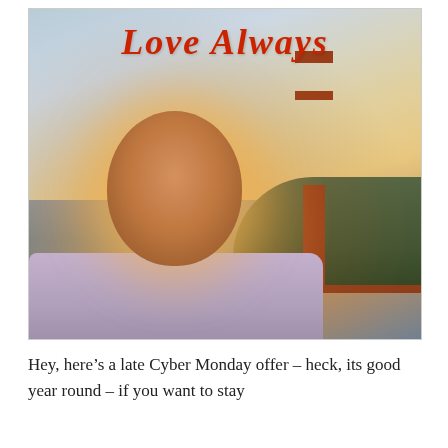[Figure (photo): A man smiling at the camera taking a selfie in front of the Golden Gate Bridge in San Francisco. The photo has warm golden/sunset lighting. The text 'Love Always' appears in red cursive lettering overlaid at the top of the image.]
Hey, here’s a late Cyber Monday offer – heck, its good year round – if you want to stay